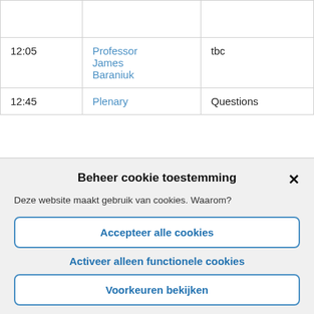| Time | Speaker | Topic |
| --- | --- | --- |
|  |  |  |
| 12:05 | Professor James Baraniuk | tbc |
| 12:45 | Plenary | Questions |
Beheer cookie toestemming
Deze website maakt gebruik van cookies. Waarom?
Accepteer alle cookies
Activeer alleen functionele cookies
Voorkeuren bekijken